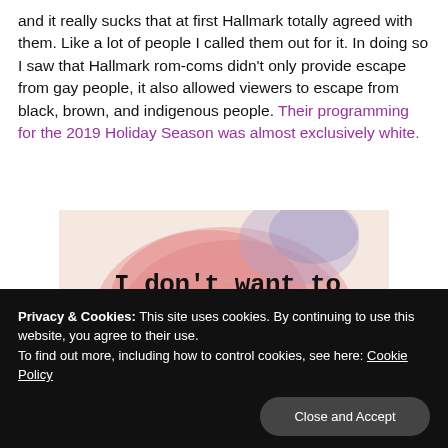and it really sucks that at first Hallmark totally agreed with them. Like a lot of people I called them out for it. In doing so I saw that Hallmark rom-coms didn't only provide escape from gay people, it also allowed viewers to escape from black, brown, and indigenous people. Their programming for the 2019 Holiday Season was almost exclusively white.
[Figure (photo): Image with text overlay on a watercolor background reading 'I don't want to just read books. I want to crawl' in typewriter font on a pink/red circular watercolor splash.]
Privacy & Cookies: This site uses cookies. By continuing to use this website, you agree to their use.
To find out more, including how to control cookies, see here: Cookie Policy
Close and Accept
The Distuff